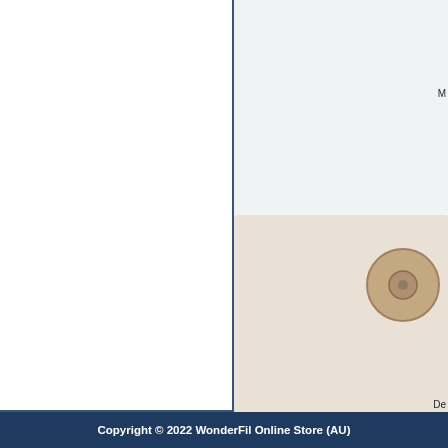[Figure (screenshot): Partial view of a product catalog page from WonderFil Online Store AU. Left half is white with a dark blue border on the right and bottom. Right half shows a light gray product listing area with at least two product cards: one showing a beige/tan spool or product image with a label beginning with 'De', and truncated text labels starting with 'M' at top right and 'Poly' near bottom right. The page is cropped.]
Copyright © 2022 WonderFil Online Store (AU)